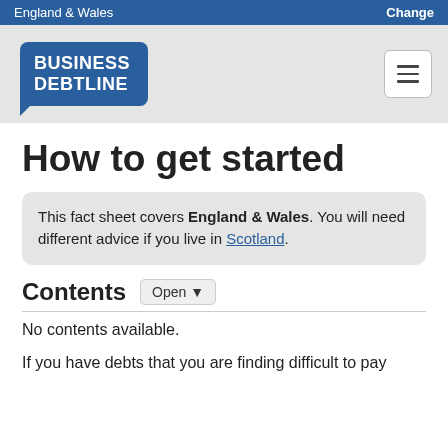England & Wales | Change
[Figure (logo): Business Debtline logo — blue speech bubble shape with white bold text 'BUSINESS DEBTLINE']
How to get started
This fact sheet covers England & Wales. You will need different advice if you live in Scotland.
Contents Open ▾
No contents available.
If you have debts that you are finding difficult to pay